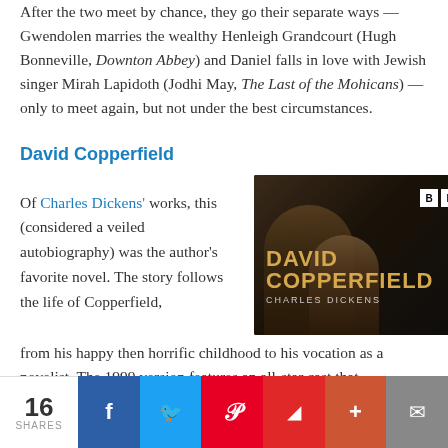After the two meet by chance, they go their separate ways — Gwendolen marries the wealthy Henleigh Grandcourt (Hugh Bonneville, Downton Abbey) and Daniel falls in love with Jewish singer Mirah Lapidoth (Jodhi May, The Last of the Mohicans) —only to meet again, but not under the best circumstances.
David Copperfield
Of Charles Dickens' works, this (considered a veiled autobiography) was the author's favorite novel. The story follows the life of Copperfield, from his happy then horrific childhood to his vocation as a novelist. The 1999 version features an all-star cast that
[Figure (photo): BBC David Copperfield TV adaptation cover image showing two actors — an adult and a child — with BBC logo and title text 'DAVID COPPERFIELD CHARLES DICKENS' in gold on dark background]
16 SHARES | Facebook | Twitter | Pinterest | Flipboard | + | Email